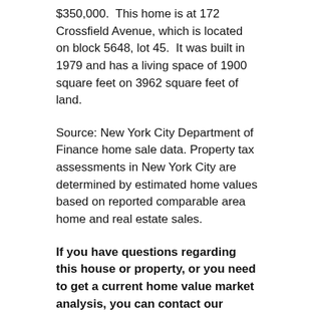$350,000. This home is at 172 Crossfield Avenue, which is located on block 5648, lot 45. It was built in 1979 and has a living space of 1900 square feet on 3962 square feet of land.
Source: New York City Department of Finance home sale data. Property tax assessments in New York City are determined by estimated home values based on reported comparable area home and real estate sales.
If you have questions regarding this house or property, or you need to get a current home value market analysis, you can contact our Staten Island industry leading Realtors at (718) 966-9669.